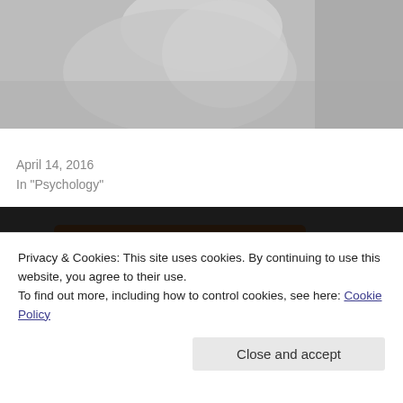[Figure (photo): Black and white photo showing top portion, appears to be a person in light clothing]
Miscarriage: Comments I wish I could un-hear
April 14, 2016
In "Psychology"
[Figure (photo): Black and white close-up photo of chocolate brownies topped with sliced almonds on a plate]
Privacy & Cookies: This site uses cookies. By continuing to use this website, you agree to their use.
To find out more, including how to control cookies, see here: Cookie Policy
Close and accept